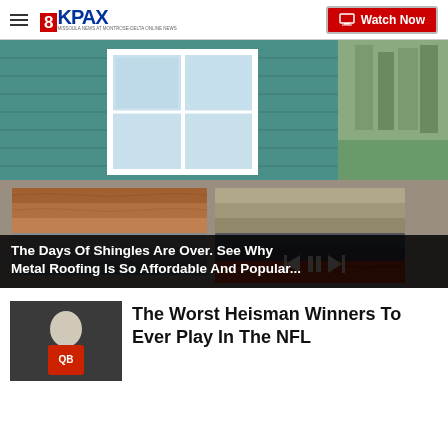8KPAX | Watch Now
[Figure (photo): Photo of various metal roofing shingle samples in different colors (brown, gray, orange/red) laid out on a flat surface in front of a teal/green sided house with white windows and a green lawn in the background. Media player controls visible at bottom right.]
The Days Of Shingles Are Over. See Why Metal Roofing Is So Affordable And Popular...
The Worst Heisman Winners To Ever Play In The NFL
[Figure (photo): Thumbnail photo of a man in a red jersey, appearing to be an NFL or college football player.]